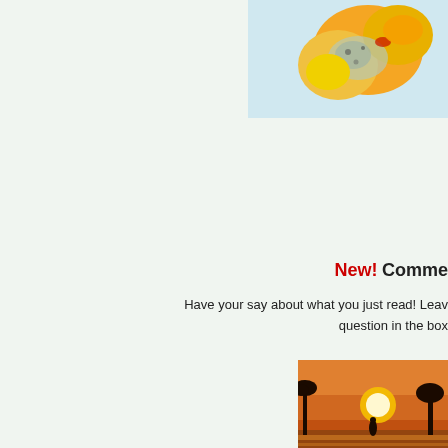[Figure (photo): Food photo showing what appears to be a baked or grilled dish with yellow/orange colors, cheese or sauce, clipped at top-right corner of page]
New! Comments
Have your say about what you just read! Leave me a comment or question in the box
[Figure (photo): Sunset photo showing silhouette of palm trees or vegetation against orange/red sunset sky over water]
Back from Croque Monsieur Rec...
Back to Tapas Starter...